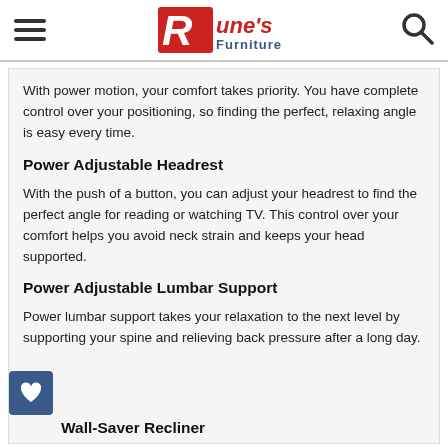Rune's Furniture
With power motion, your comfort takes priority. You have complete control over your positioning, so finding the perfect, relaxing angle is easy every time.
Power Adjustable Headrest
With the push of a button, you can adjust your headrest to find the perfect angle for reading or watching TV. This control over your comfort helps you avoid neck strain and keeps your head supported.
Power Adjustable Lumbar Support
Power lumbar support takes your relaxation to the next level by supporting your spine and relieving back pressure after a long day.
Wall-Saver Recliner